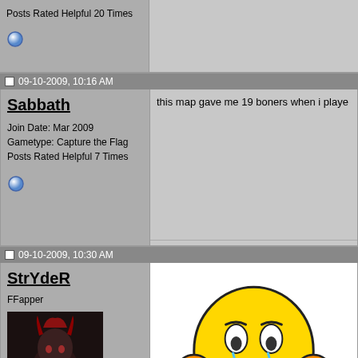Posts Rated Helpful 20 Times
09-10-2009, 10:16 AM
Sabbath
Join Date: Mar 2009
Gametype: Capture the Flag
Posts Rated Helpful 7 Times
this map gave me 19 boners when i played
09-10-2009, 10:30 AM
StrYdeR
FFapper
Join Date: Mar 2008
Location: Utah
[Figure (illustration): Sad/worried yellow smiley face emoji with orange ears and blue hands, hands raised to head in worried expression]
[Figure (illustration): Dark fantasy character avatar - appears to be a demon or monster with red hair/horns against dark background]